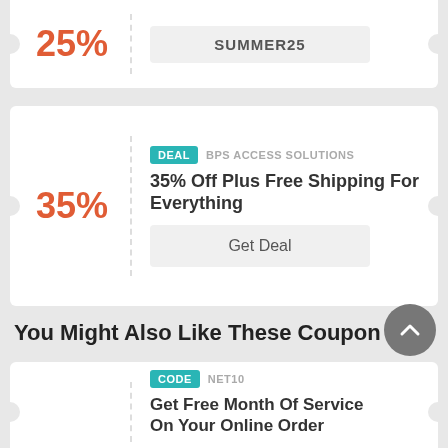25%
SUMMER25
DEAL  BPS ACCESS SOLUTIONS
35% Off Plus Free Shipping For Everything
35%
Get Deal
You Might Also Like These Coupons
CODE  NET10
Get Free Month Of Service On Your Online Order